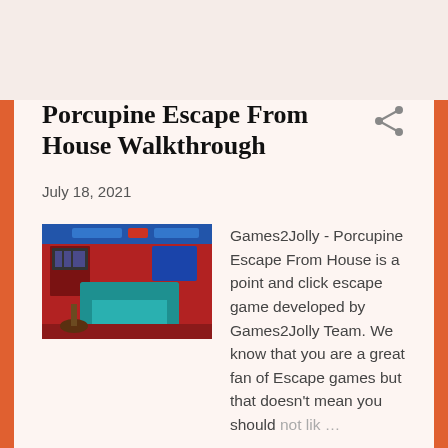Porcupine Escape From House Walkthrough
July 18, 2021
[Figure (screenshot): Screenshot of Porcupine Escape From House game showing a room with a teal sofa, red walls, and a lamp]
Games2Jolly - Porcupine Escape From House is a point and click escape game developed by Games2Jolly Team. We know that you are a great fan of Escape games but that doesn't mean you should not lik …
READ MORE